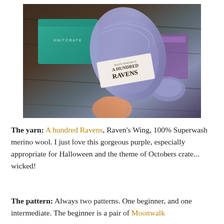[Figure (photo): A hand holding a skein of blue-purple yarn with a label reading 'A Hundred Ravens', dyed for KnitCrate. In the background is a teal/green KnitCrate box on a dark wooden surface, along with other knitting accessories.]
The yarn: A hundred Ravens, Raven's Wing, 100% Superwash merino wool. I just love this gorgeous purple, especially appropriate for Halloween and the theme of Octobers crate... wicked!
The pattern: Always two patterns. One beginner, and one intermediate. The beginner is a pair of Moonwalk